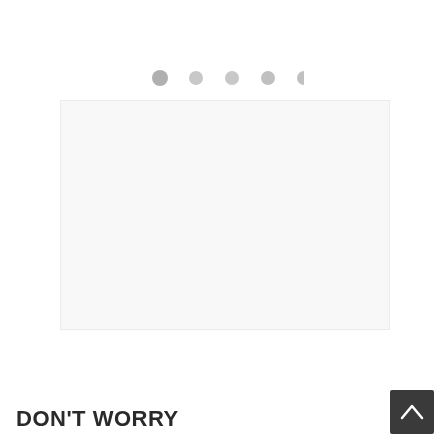[Figure (other): Five gray dots arranged horizontally, serving as a pagination/carousel indicator. The first dot is slightly darker/larger, others are lighter gray.]
[Figure (other): A faint white/light gray rectangular image area occupying the middle of the page, appearing mostly blank or washed out.]
[Figure (other): A dark gray/charcoal square button with a white upward-pointing chevron arrow, positioned at lower right of page.]
DON'T WORRY